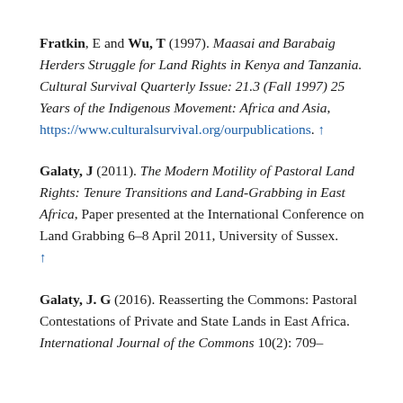Fratkin, E and Wu, T (1997). Maasai and Barabaig Herders Struggle for Land Rights in Kenya and Tanzania. Cultural Survival Quarterly Issue: 21.3 (Fall 1997) 25 Years of the Indigenous Movement: Africa and Asia, https://www.culturalsurvival.org/ourpublications. ↑
Galaty, J (2011). The Modern Motility of Pastoral Land Rights: Tenure Transitions and Land-Grabbing in East Africa, Paper presented at the International Conference on Land Grabbing 6–8 April 2011, University of Sussex. ↑
Galaty, J. G (2016). Reasserting the Commons: Pastoral Contestations of Private and State Lands in East Africa. International Journal of the Commons 10(2): 709–